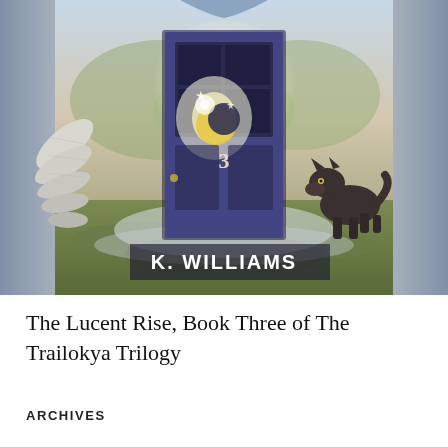[Figure (illustration): Book cover for 'The Lucent Rise, Book Three of The Trailokya Trilogy' by K. Williams. Features a blue door numbered '3' with a moon and stars design on its window panel, set in a mystical landscape with angel wings on the left and a wolf on the right, with a glowing magical atmosphere.]
The Lucent Rise, Book Three of The Trailokya Trilogy
ARCHIVES